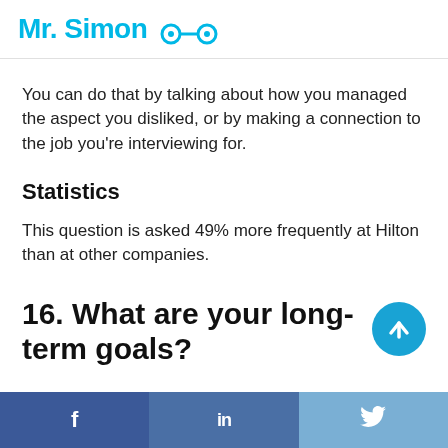Mr. Simon
You can do that by talking about how you managed the aspect you disliked, or by making a connection to the job you're interviewing for.
Statistics
This question is asked 49% more frequently at Hilton than at other companies.
16. What are your long-term goals?
f  in  🐦